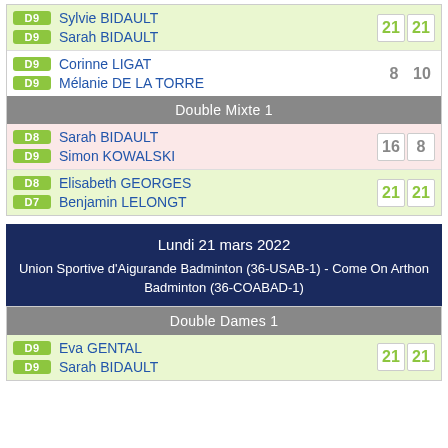| D9 | Sylvie BIDAULT | 21 | 21 |
| D9 | Sarah BIDAULT |  |  |
| D9 | Corinne LIGAT | 8 | 10 |
| D9 | Mélanie DE LA TORRE |  |  |
Double Mixte 1
| D8 | Sarah BIDAULT | 16 | 8 |
| D9 | Simon KOWALSKI |  |  |
| D8 | Elisabeth GEORGES | 21 | 21 |
| D7 | Benjamin LELONGT |  |  |
Lundi 21 mars 2022
Union Sportive d'Aigurande Badminton (36-USAB-1) - Come On Arthon Badminton (36-COABAD-1)
Double Dames 1
| D9 | Eva GENTAL | 21 | 21 |
| D9 | Sarah BIDAULT |  |  |